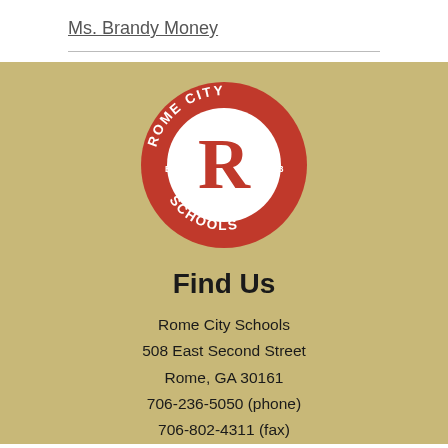Ms. Brandy Money
[Figure (logo): Rome City Schools circular logo: red circle with white text reading ROME CITY SCHOOLS and EST. 1883, with large white R in center on white circle background.]
Find Us
Rome City Schools
508 East Second Street
Rome, GA 30161
706-236-5050 (phone)
706-802-4311 (fax)